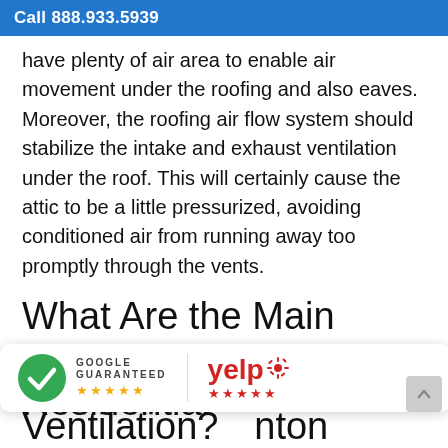Call 888.933.5939
have plenty of air area to enable air movement under the roofing and also eaves. Moreover, the roofing air flow system should stabilize the intake and exhaust ventilation under the roof. This will certainly cause the attic to be a little pressurized, avoiding conditioned air from running away too promptly through the vents.
What Are the Main Elements of a Residential Ventilation?
[Figure (logo): Google Guaranteed badge with green checkmark circle and five orange stars, next to Yelp logo with five red stars rating badge]